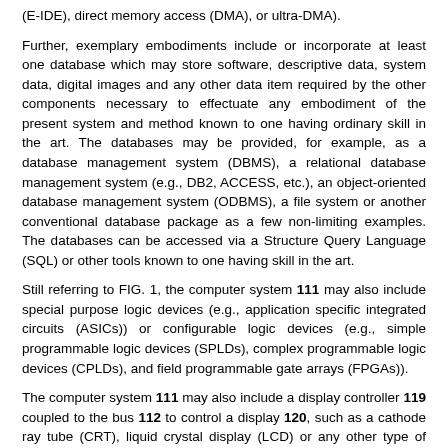(E-IDE), direct memory access (DMA), or ultra-DMA).
Further, exemplary embodiments include or incorporate at least one database which may store software, descriptive data, system data, digital images and any other data item required by the other components necessary to effectuate any embodiment of the present system and method known to one having ordinary skill in the art. The databases may be provided, for example, as a database management system (DBMS), a relational database management system (e.g., DB2, ACCESS, etc.), an object-oriented database management system (ODBMS), a file system or another conventional database package as a few non-limiting examples. The databases can be accessed via a Structure Query Language (SQL) or other tools known to one having skill in the art.
Still referring to FIG. 1, the computer system 111 may also include special purpose logic devices (e.g., application specific integrated circuits (ASICs)) or configurable logic devices (e.g., simple programmable logic devices (SPLDs), complex programmable logic devices (CPLDs), and field programmable gate arrays (FPGAs)).
The computer system 111 may also include a display controller 119 coupled to the bus 112 to control a display 120, such as a cathode ray tube (CRT), liquid crystal display (LCD) or any other type of display, for displaying information to a computer user. The computer system includes